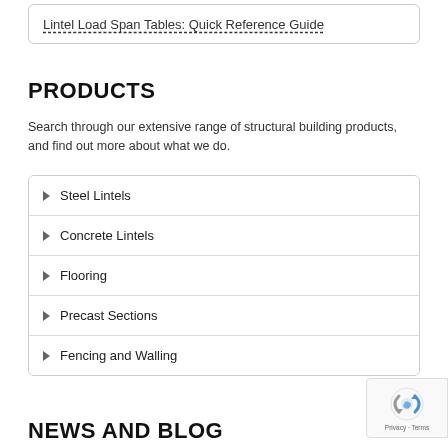Lintel Load Span Tables: Quick Reference Guide
PRODUCTS
Search through our extensive range of structural building products, and find out more about what we do.
Steel Lintels
Concrete Lintels
Flooring
Precast Sections
Fencing and Walling
NEWS AND BLOG
[Figure (logo): reCAPTCHA badge with Privacy and Terms links]